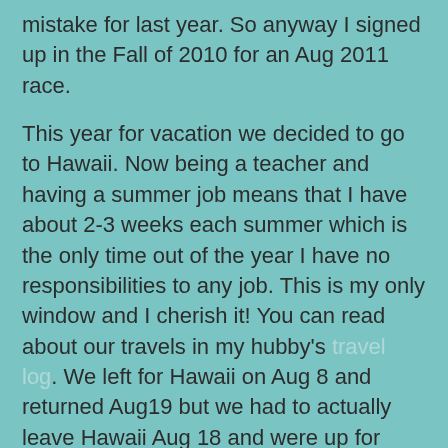mistake for last year.  So anyway I signed up in the Fall of 2010 for an Aug 2011 race.
This year for vacation we decided to go to Hawaii.  Now being a teacher and having a summer job means that I have about 2-3 weeks each summer which is the only time out of the year I have no responsibilities to any job.  This is my only window and I cherish it!  You can read about our travels in my hubby's travel log.  We left for Hawaii on Aug 8 and returned Aug19 but we had to actually leave Hawaii Aug 18 and were up for about 36hours on various flights to get home.  We slept from Fri to Sat for 15 hours! Big big mistake!  My mom called at 9.30am to tell us about the birth of our newest cousin Julianna Elizabeth. I said great and rolled over to continue sleeping not realizing that it would be 1pm when I woke up!  Got some good deep sleep.  Around 10.30pm last night we settled in bed for the night knowing that I had to get up at 5am to set up and the hubby had to get up around 4am to go volunteer.  Sounds like a good plan right? Well....we couldn't sleep....I tried reading, we talked.  Finally around 1.30 we decided to watch some How I Met Your Mother.  We love this show and no vacation we started